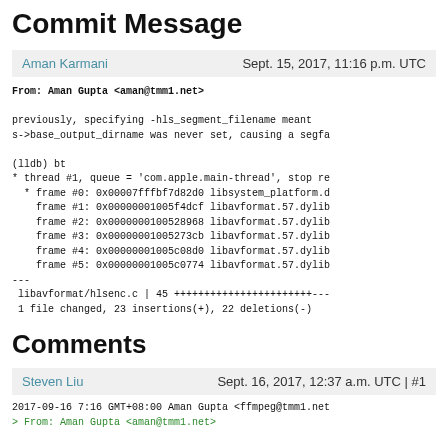Commit Message
Aman Karmani   Sept. 15, 2017, 11:16 p.m. UTC
From: Aman Gupta <aman@tmm1.net>

previously, specifying -hls_segment_filename meant
s->base_output_dirname was never set, causing a segfa

(lldb) bt
* thread #1, queue = 'com.apple.main-thread', stop re
  * frame #0: 0x00007fffbf7d82d0 libsystem_platform.d
    frame #1: 0x00000001005f4dcf libavformat.57.dylib
    frame #2: 0x0000000100528968 libavformat.57.dylib
    frame #3: 0x00000001005273cb libavformat.57.dylib
    frame #4: 0x00000001005c08d0 libavformat.57.dylib
    frame #5: 0x00000001005c0774 libavformat.57.dylib
---
libavformat/hlsenc.c | 45 ++++++++++++++++++++++++---
1 file changed, 23 insertions(+), 22 deletions(-)
Comments
Steven Liu   Sept. 16, 2017, 12:37 a.m. UTC | #1
2017-09-16 7:16 GMT+08:00 Aman Gupta <ffmpeg@tmm1.net
> From: Aman Gupta <aman@tmm1.net>